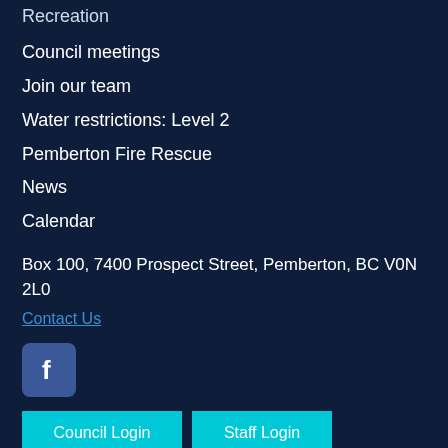Recreation
Council meetings
Join our team
Water restrictions: Level 2
Pemberton Fire Rescue
News
Calendar
Box 100, 7400 Prospect Street, Pemberton, BC V0N 2L0
Contact Us
[Figure (logo): Facebook logo icon — blue square with white 'f' lettermark]
Council Login
Staff Login
Website by loop